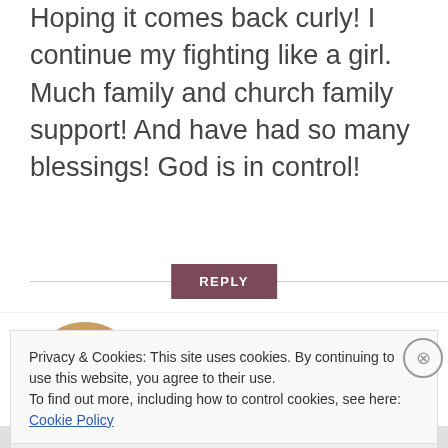Hoping it comes back curly! I continue my fighting like a girl. Much family and church family support! And have had so many blessings! God is in control!
REPLY
[Figure (photo): Circular avatar photo of Denise McCroskey, a woman with blonde hair and glasses]
Denise McCroskey
MARCH 16, 2017 AT 9:03 AM
Privacy & Cookies: This site uses cookies. By continuing to use this website, you agree to their use.
To find out more, including how to control cookies, see here: Cookie Policy
Close and accept